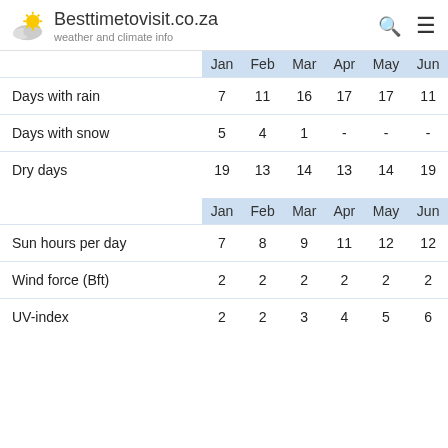Besttimetovisit.co.za — weather and climate info
|  | Jan | Feb | Mar | Apr | May | Jun |
| --- | --- | --- | --- | --- | --- | --- |
| Days with rain | 7 | 11 | 16 | 17 | 17 | 11 |
| Days with snow | 5 | 4 | 1 | - | - | - |
| Dry days | 19 | 13 | 14 | 13 | 14 | 19 |
|  | Jan | Feb | Mar | Apr | May | Jun |
| --- | --- | --- | --- | --- | --- | --- |
| Sun hours per day | 7 | 8 | 9 | 11 | 12 | 12 |
| Wind force (Bft) | 2 | 2 | 2 | 2 | 2 | 2 |
| UV-index | 2 | 2 | 3 | 4 | 5 | 6 |